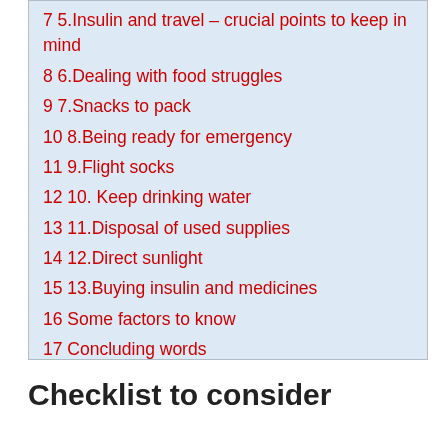7 5.Insulin and travel – crucial points to keep in mind
8 6.Dealing with food struggles
9 7.Snacks to pack
10 8.Being ready for emergency
11 9.Flight socks
12 10. Keep drinking water
13 11.Disposal of used supplies
14 12.Direct sunlight
15 13.Buying insulin and medicines
16 Some factors to know
17 Concluding words
Checklist to consider